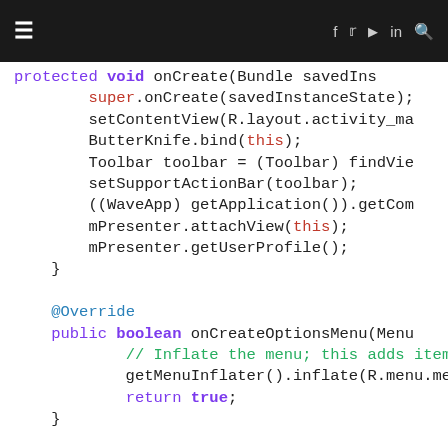navigation bar with menu and social icons
protected void onCreate(Bundle savedIns
    super.onCreate(savedInstanceState);
    setContentView(R.layout.activity_ma
    ButterKnife.bind(this);
    Toolbar toolbar = (Toolbar) findVie
    setSupportActionBar(toolbar);
    ((WaveApp) getApplication()).getCom
    mPresenter.attachView(this);
    mPresenter.getUserProfile();
}

@Override
public boolean onCreateOptionsMenu(Menu
    // Inflate the menu; this adds item
    getMenuInflater().inflate(R.menu.me
    return true;
}

@Override
public boolean onOptionsItemSelected(Me
    // Handle action bar item clicks he
    // automatically handle clicks on t
    // as you specify a parent activity
    int id = item.getItemId();